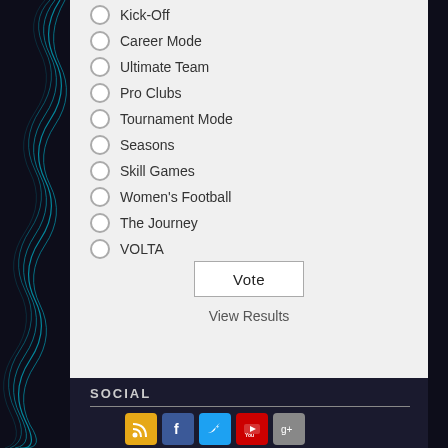Kick-Off
Career Mode
Ultimate Team
Pro Clubs
Tournament Mode
Seasons
Skill Games
Women's Football
The Journey
VOLTA
Vote
View Results
SOCIAL
[Figure (illustration): Social media icons: RSS (orange), Facebook (blue), Twitter (cyan), YouTube (red), Google+ (gray)]